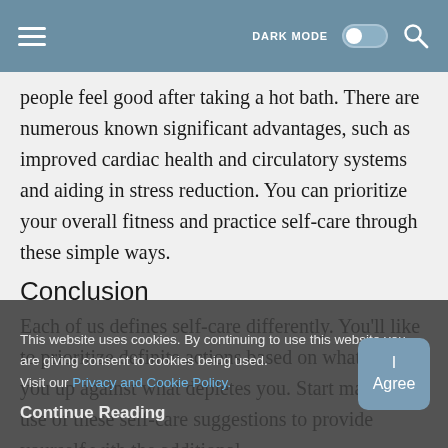DARK MODE [toggle] [search]
people feel good after taking a hot bath. There are numerous known significant advantages, such as improved cardiac health and circulatory systems and aiding in stress reduction. You can prioritize your overall fitness and practice self-care through these simple ways.
Conclusion
Each of us defines self-care differently. You’ll like to prioritize definite actions based on what builds you up against what depletes you. Start making use of these self-care suggestions to provide yourself with the additional incentive to relax and fully charge up.
This website uses cookies. By continuing to use this website you are giving consent to cookies being used. Visit our Privacy and Cookie Policy.
Continue Reading